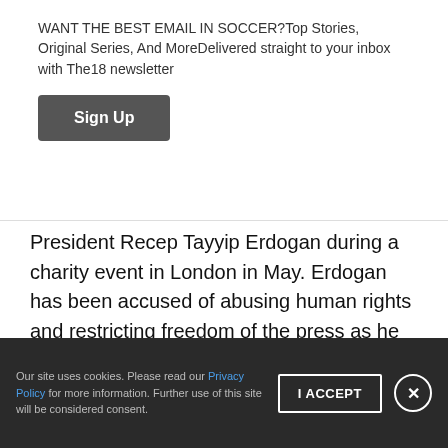WANT THE BEST EMAIL IN SOCCER?Top Stories, Original Series, And MoreDelivered straight to your inbox with The18 newsletter
Sign Up
President Recep Tayyip Erdogan during a charity event in London in May. Erdogan has been accused of abusing human rights and restricting freedom of the press as he has consolidated his own power. The German media blasted him for posing with a man many say is responsible for pushing Turkey toward authoritarianism and away from a true democracy.
Our site uses cookies. Please read our Privacy Policy for more information. Further use of this site will be considered consent.
I ACCEPT